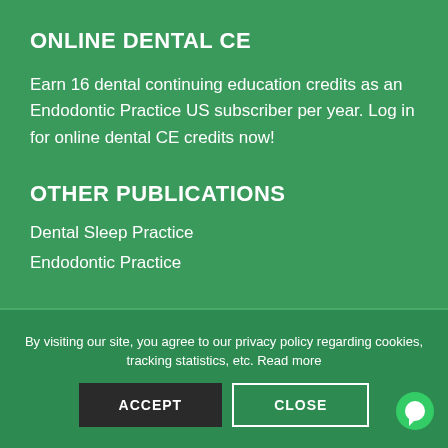ONLINE DENTAL CE
Earn 16 dental continuing education credits as an Endodontic Practice US subscriber per year. Log in for online dental CE credits now!
OTHER PUBLICATIONS
Dental Sleep Practice
Endodontic Practice
By visiting our site, you agree to our privacy policy regarding cookies, tracking statistics, etc. Read more
ACCEPT   CLOSE